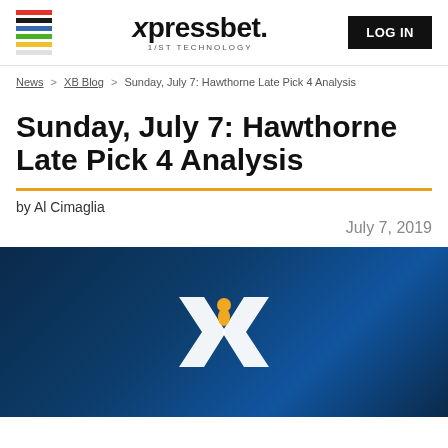xpressbet. 1/ST TECHNOLOGY | LOG IN
News > XB Blog > Sunday, July 7: Hawthorne Late Pick 4 Analysis
Sunday, July 7: Hawthorne Late Pick 4 Analysis
by Al Cimaglia
July 7, 2019
[Figure (logo): Xpressbet X logo on dark blue gradient background]